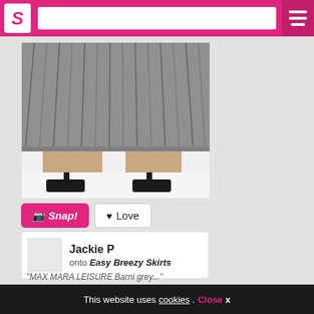S [logo] [search bar] [hamburger menu]
[Figure (photo): Bottom half of a model wearing a grey pleated midi skirt and black strappy heeled sandals on a white background]
Snap!  Love
Jackie P onto Easy Breezy Skirts
"MAX MARA LEISURE Barni grey..."
This website uses cookies. Close x